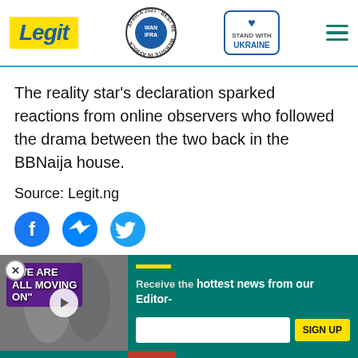[Figure (logo): Legit.ng website header with Legit logo, WAN-IFRA Best News Website in Africa 2021 award badge, Stand With Ukraine badge, and hamburger menu icon]
The reality star's declaration sparked reactions from online observers who followed the drama between the two back in the BBNaija house.
Source: Legit.ng
[Figure (infographic): Social media sharing icons: Facebook (blue circle with f), Messenger (blue circle with lightning bolt), Twitter (blue circle with bird)]
[Figure (screenshot): Newsletter signup popup on teal/green background with video thumbnail showing two people and text 'WE ARE ALL MOVING ON', hottest news from Editor headline, email input field, SIGN UP button in yellow, and red chevron down button]
[Figure (infographic): Bottom advertisement: Help Protect Ukrainian Families with blue and yellow Ukraine heart icon, DONATE NOW button in blue]